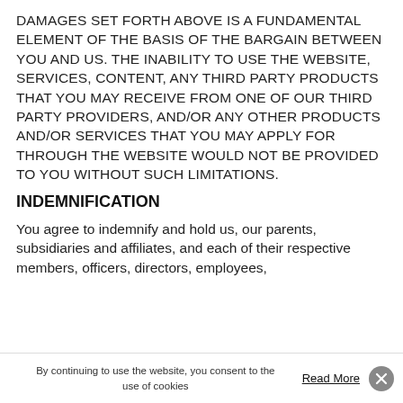DAMAGES SET FORTH ABOVE IS A FUNDAMENTAL ELEMENT OF THE BASIS OF THE BARGAIN BETWEEN YOU AND US. THE INABILITY TO USE THE WEBSITE, SERVICES, CONTENT, ANY THIRD PARTY PRODUCTS THAT YOU MAY RECEIVE FROM ONE OF OUR THIRD PARTY PROVIDERS, AND/OR ANY OTHER PRODUCTS AND/OR SERVICES THAT YOU MAY APPLY FOR THROUGH THE WEBSITE WOULD NOT BE PROVIDED TO YOU WITHOUT SUCH LIMITATIONS.
INDEMNIFICATION
You agree to indemnify and hold us, our parents, subsidiaries and affiliates, and each of their respective members, officers, directors, employees,
By continuing to use the website, you consent to the use of cookies